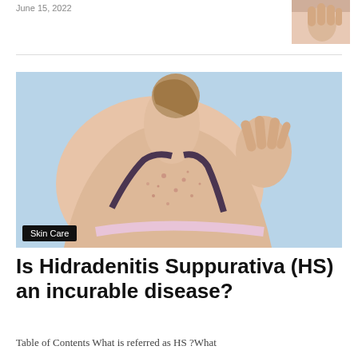June 15, 2022
[Figure (photo): Small thumbnail photo of a person's hand/arm in the top right corner]
[Figure (photo): Main article photo: woman scratching her bare back showing skin with spots/bumps, against a light blue background. Category tag 'Skin Care' overlaid in bottom-left corner.]
Is Hidradenitis Suppurativa (HS) an incurable disease?
Table of Contents What is referred as HS ?What